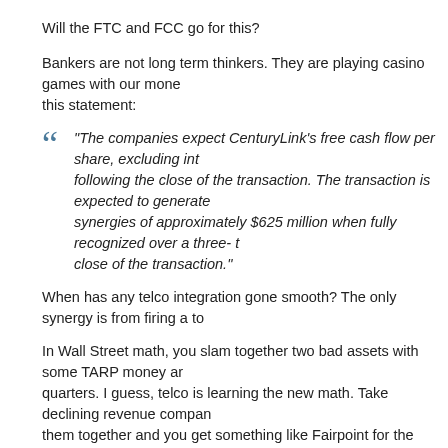Will the FTC and FCC go for this?
Bankers are not long term thinkers. They are playing casino games with our money. Consider this statement:
"The companies expect CenturyLink's free cash flow per share, excluding inte... following the close of the transaction. The transaction is expected to generate... synergies of approximately $625 million when fully recognized over a three-t... close of the transaction."
When has any telco integration gone smooth? The only synergy is from firing a to...
In Wall Street math, you slam together two bad assets with some TARP money an... quarters. I guess, telco is learning the new math. Take declining revenue compa... them together and you get something like Fairpoint for the customers.
According to NYT, it's CenturyTel leading the charge: "CenturyTel said Thursday t... Communications in a $10.6 billion stock-swap that would combine the two landlin... count as one of biggest telecommunications deals in years." CenturyTel is still dig...
I love this line: "Glen F. Post III, CenturyLink's chief, said the scale attained throug... deploy innovative IP products and high-bandwidth services to business customers...